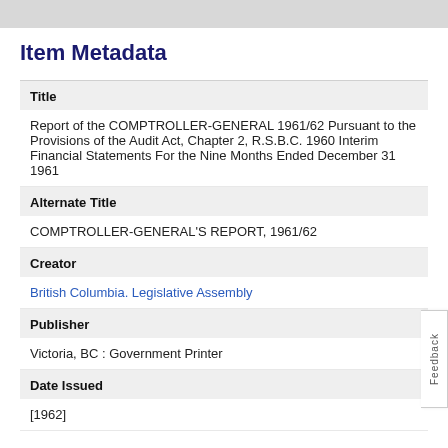Item Metadata
| Field | Value |
| --- | --- |
| Title | Report of the COMPTROLLER-GENERAL 1961/62 Pursuant to the Provisions of the Audit Act, Chapter 2, R.S.B.C. 1960 Interim Financial Statements For the Nine Months Ended December 31 1961 |
| Alternate Title | COMPTROLLER-GENERAL'S REPORT, 1961/62 |
| Creator | British Columbia. Legislative Assembly |
| Publisher | Victoria, BC : Government Printer |
| Date Issued | [1962] |